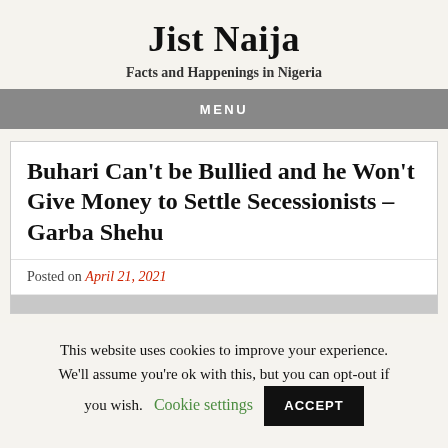Jist Naija
Facts and Happenings in Nigeria
MENU
Buhari Can't be Bullied and he Won't Give Money to Settle Secessionists – Garba Shehu
Posted on April 21, 2021
This website uses cookies to improve your experience. We'll assume you're ok with this, but you can opt-out if you wish. Cookie settings ACCEPT